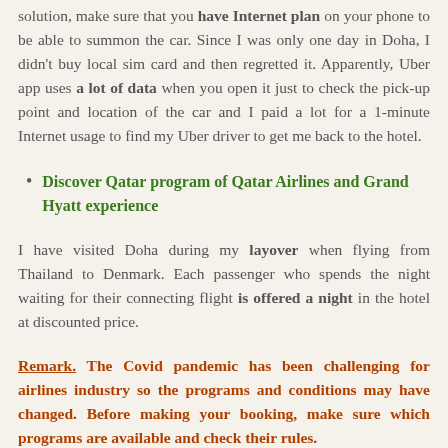solution, make sure that you have Internet plan on your phone to be able to summon the car. Since I was only one day in Doha, I didn't buy local sim card and then regretted it. Apparently, Uber app uses a lot of data when you open it just to check the pick-up point and location of the car and I paid a lot for a 1-minute Internet usage to find my Uber driver to get me back to the hotel.
Discover Qatar program of Qatar Airlines and Grand Hyatt experience
I have visited Doha during my layover when flying from Thailand to Denmark. Each passenger who spends the night waiting for their connecting flight is offered a night in the hotel at discounted price.
Remark. The Covid pandemic has been challenging for airlines industry so the programs and conditions may have changed. Before making your booking, make sure which programs are available and check their rules.